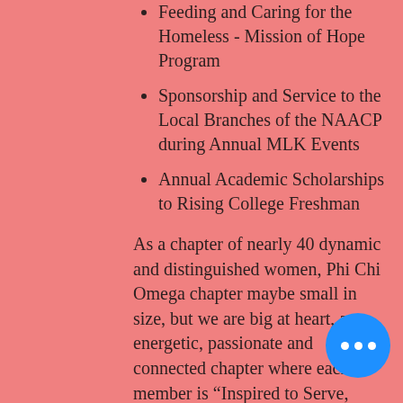Feeding and Caring for the Homeless - Mission of Hope Program
Sponsorship and Service to the Local Branches of the NAACP during Annual MLK Events
Annual Academic Scholarships to Rising College Freshman
As a chapter of nearly 40 dynamic and distinguished women, Phi Chi Omega chapter maybe small in size, but we are big at heart, an energetic, passionate and connected chapter where each member is “Inspired to Serve, Empowered to Lead, Committed to Make a Difference in the Lives of Others”. Our members are encouraged to develop and use their unique talents, creativity and skills to support innovative and impactful chapter programming and activities.
If you are a member of Alpha Kappa Sorority, Incorporated®, and you would like to visit our chapter or you are looking